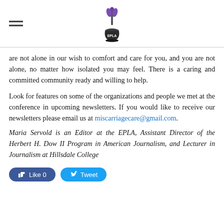EPLA logo and navigation
are not alone in our wish to comfort and care for you, and you are not alone, no matter how isolated you may feel. There is a caring and committed community ready and willing to help.
Look for features on some of the organizations and people we met at the conference in upcoming newsletters. If you would like to receive our newsletters please email us at miscarriagecare@gmail.com.
Maria Servold is an Editor at the EPLA, Assistant Director of the Herbert H. Dow II Program in American Journalism, and Lecturer in Journalism at Hillsdale College